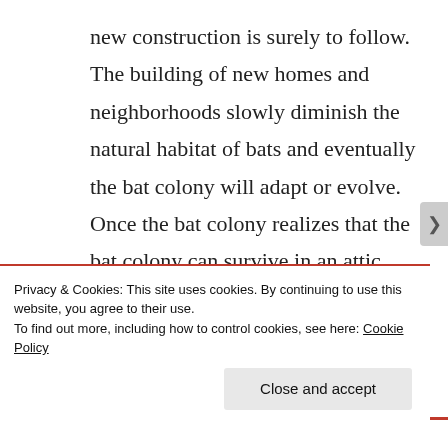new construction is surely to follow. The building of new homes and neighborhoods slowly diminish the natural habitat of bats and eventually the bat colony will adapt or evolve. Once the bat colony realizes that the bat colony can survive in an attic, space or even chimney, the bat colony will take advantage of any small
Privacy & Cookies: This site uses cookies. By continuing to use this website, you agree to their use.
To find out more, including how to control cookies, see here: Cookie Policy
Close and accept